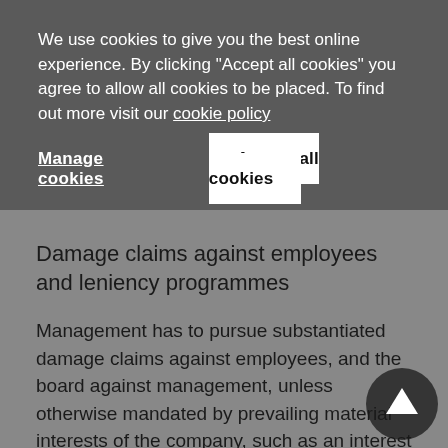We use cookies to give you the best online experience. By clicking "Accept all cookies" you agree to allow all cookies to be placed. To find out more visit our cookie policy
Manage cookies
Accept all cookies
Damage claims against employees and leniency programmes
Management has to pursue substantiated damage claims against employees, and the board against management, unless otherwise mandated by prevailing material interests of the company, such as an interest in the success of the investigation (leniency)